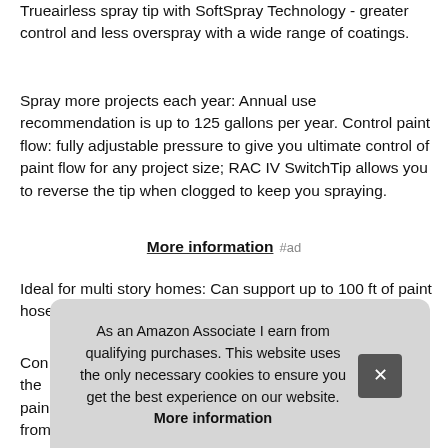Trueairless spray tip with SoftSpray Technology - greater control and less overspray with a wide range of coatings.
Spray more projects each year: Annual use recommendation is up to 125 gallons per year. Control paint flow: fully adjustable pressure to give you ultimate control of paint flow for any project size; RAC IV SwitchTip allows you to reverse the tip when clogged to keep you spraying.
More information #ad
Ideal for multi story homes: Can support up to 100 ft of paint hose allowing you to spray second and third story homes.
Con... Con... the... pain... from a 1 or 5 gallon paint bucket. Spray paint unthinned.
As an Amazon Associate I earn from qualifying purchases. This website uses the only necessary cookies to ensure you get the best experience on our website. More information